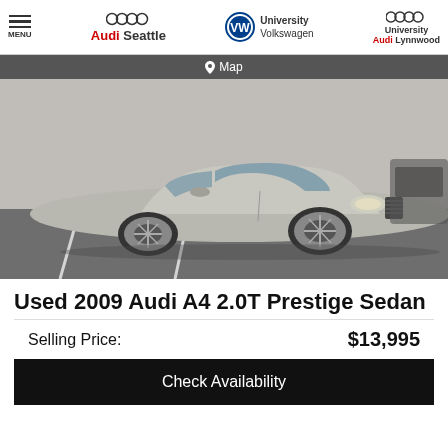MENU | Audi Seattle | University Volkswagen | University Audi Lynnwood
Map
[Figure (photo): Silver 2009 Audi A4 2.0T Prestige Sedan photographed in a parking lot from a front three-quarter angle, showing the front grille, headlights, and alloy wheels.]
Used 2009 Audi A4 2.0T Prestige Sedan
Selling Price: $13,995
Check Availability